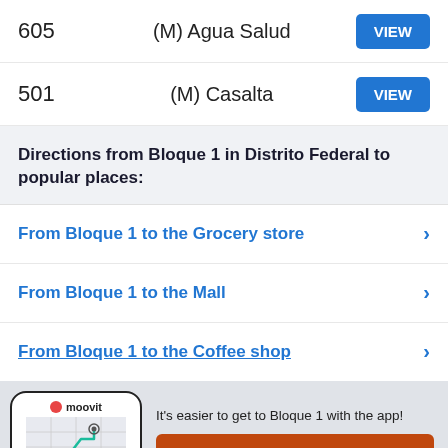605  (M) Agua Salud  VIEW
501  (M) Casalta  VIEW
Directions from Bloque 1 in Distrito Federal to popular places:
From Bloque 1 to the Grocery store
From Bloque 1 to the Mall
From Bloque 1 to the Coffee shop
[Figure (screenshot): Moovit app promotional banner showing phone mockup with map/transit route, moovit logo, tagline 'It's easier to get to Bloque 1 with the app!' and orange 'Get the App' button]